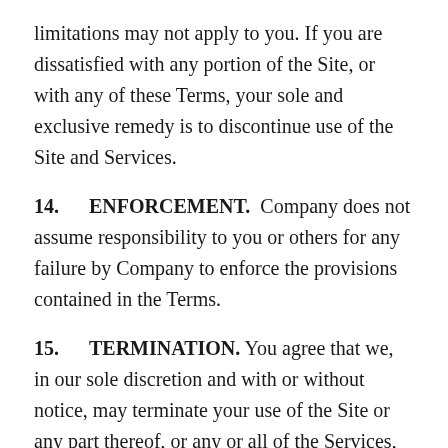limitations may not apply to you. If you are dissatisfied with any portion of the Site, or with any of these Terms, your sole and exclusive remedy is to discontinue use of the Site and Services.
14. ENFORCEMENT. Company does not assume responsibility to you or others for any failure by Company to enforce the provisions contained in the Terms.
15. TERMINATION. You agree that we, in our sole discretion and with or without notice, may terminate your use of the Site or any part thereof, or any or all of the Services, for any reason, including without limitation, for lack of use by you or if we believe that you have violated or acted inconsistently with the letter or spirit of the